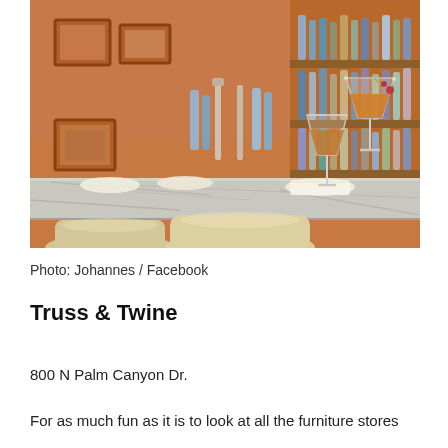[Figure (photo): Interior photo of a bar with a marble/granite countertop, upholstered bar stools, two cocktail glasses (martini-style with orange/amber drinks) on the bar, and shelves full of liquor bottles in the background. Warm orange/amber tones on the walls.]
Photo: Johannes / Facebook
Truss & Twine
800 N Palm Canyon Dr.
For as much fun as it is to look at all the furniture stores